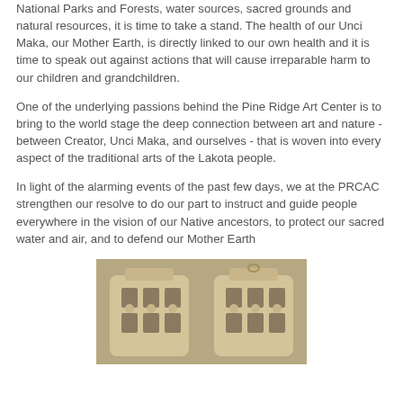National Parks and Forests, water sources, sacred grounds and natural resources, it is time to take a stand. The health of our Unci Maka, our Mother Earth, is directly linked to our own health and it is time to speak out against actions that will cause irreparable harm to our children and grandchildren.
One of the underlying passions behind the Pine Ridge Art Center is to bring to the world stage the deep connection between art and nature - between Creator, Unci Maka, and ourselves - that is woven into every aspect of the traditional arts of the Lakota people.
In light of the alarming events of the past few days, we at the PRCAC strengthen our resolve to do our part to instruct and guide people everywhere in the vision of our Native ancestors, to protect our sacred water and air, and to defend our Mother Earth
[Figure (photo): Two carved tan/cream colored cylindrical pottery pieces with geometric cutout patterns, photographed against a neutral background.]